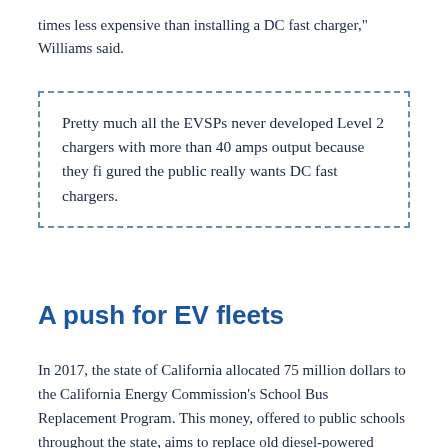times less expensive than installing a DC fast charger," Williams said.
Pretty much all the EVSPs never developed Level 2 chargers with more than 40 amps output because they figured the public really wants DC fast chargers.
A push for EV fleets
In 2017, the state of California allocated 75 million dollars to the California Energy Commission's School Bus Replacement Program. This money, offered to public schools throughout the state, aims to replace old diesel-powered school buses with electric alternatives. Thanks to this program, the funding for